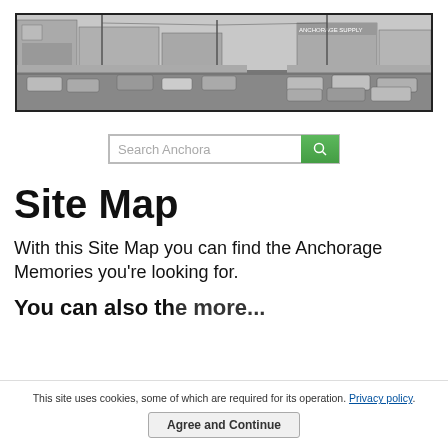[Figure (photo): Black and white panoramic photo of a vintage Anchorage street scene with cars and storefronts from mid-20th century]
[Figure (other): Search bar with text 'Search Anchora' and a green search button with magnifying glass icon]
Site Map
With this Site Map you can find the Anchorage Memories you're looking for.
You can also the more...
This site uses cookies, some of which are required for its operation. Privacy policy.
Agree and Continue